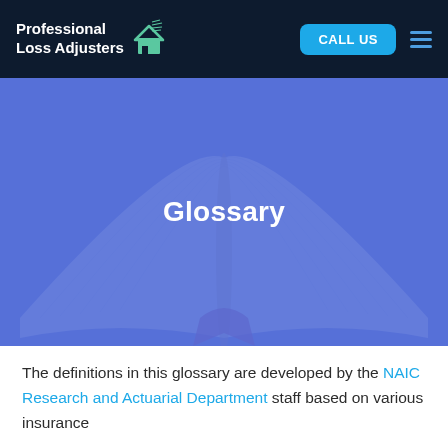Professional Loss Adjusters | CALL US
[Figure (photo): Open book with blue overlay tint, serving as hero banner background]
Glossary
The definitions in this glossary are developed by the NAIC Research and Actuarial Department staff based on various insurance